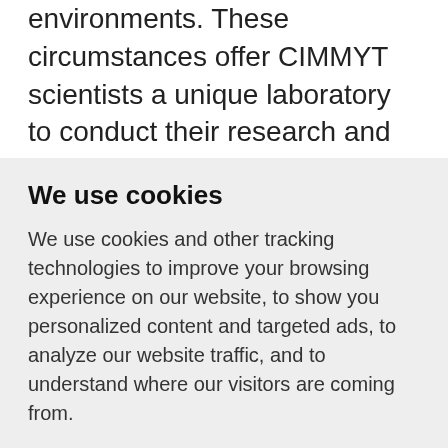environments. These circumstances offer CIMMYT scientists a unique laboratory to conduct their research and gives us an opportunity to explore new ways of doing science and connecting with farmers to ensure that science has impact.
Q: This year the World Food Prize Borlaus Dialogue was titled "Can we...
We use cookies
We use cookies and other tracking technologies to improve your browsing experience on our website, to show you personalized content and targeted ads, to analyze our website traffic, and to understand where our visitors are coming from.